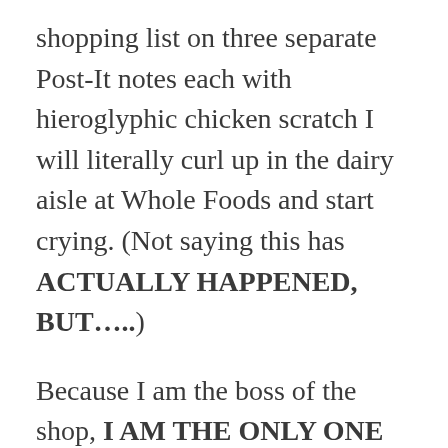shopping list on three separate Post-It notes each with hieroglyphic chicken scratch I will literally curl up in the dairy aisle at Whole Foods and start crying. (Not saying this has ACTUALLY HAPPENED, BUT…..)
Because I am the boss of the shop, I AM THE ONLY ONE WHO GETS TO WRITE THE GOSHDARN LIST!!! Yes, you may suggest items. OK. Yes, you may text me while I'm at the store with a last minute suggestion. BUT DO NOT WAIT UNTIL I am ALREADY in the $%#@! checkout line with my food truck! Whilst reading the Enquirer headlines of Jennifer